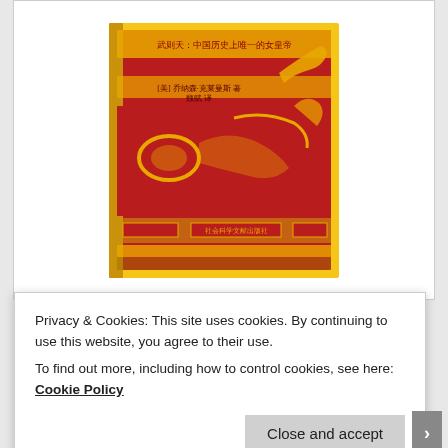[Figure (photo): A red and gold Chinese book cover with decorative dragon motifs and Chinese text, shown at a slight angle as if a physical book]
My biography of Empress Wu is finally available in the People's Republic of China, in Chinese. No, I don't know why, either. But there it is, looking all posh.
Posted in China | Tagged China, Empress Wu | Leave a reply
Privacy & Cookies: This site uses cookies. By continuing to use this website, you agree to their use.
To find out more, including how to control cookies, see here: Cookie Policy